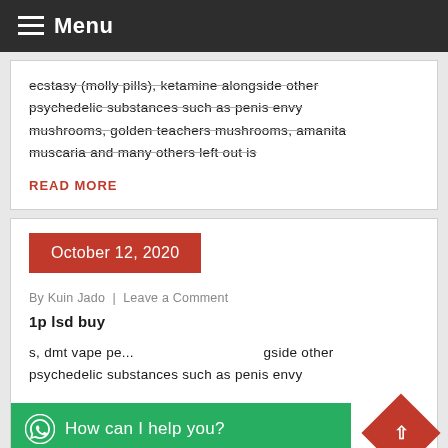Menu
ecstasy (molly pills), ketamine alongside other psychedelic substances such as penis envy mushrooms, golden teachers mushrooms, amanita muscaria and many others left out is
READ MORE
October 12, 2020
By Kuin Jado  |  Leave a Comment
1p lsd buy
s, dmt vape pe... ...gside other psychedelic substances such as penis envy
How can I help you?